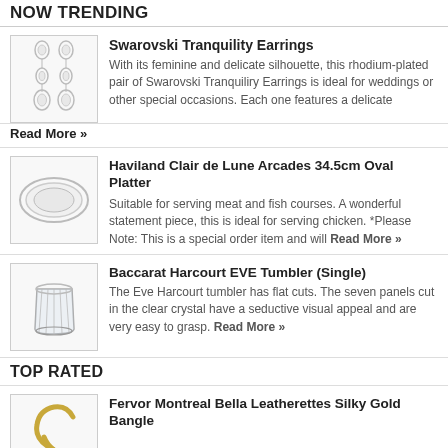NOW TRENDING
Swarovski Tranquility Earrings — With its feminine and delicate silhouette, this rhodium-plated pair of Swarovski Tranquiliry Earrings is ideal for weddings or other special occasions. Each one features a delicate Read More »
Haviland Clair de Lune Arcades 34.5cm Oval Platter — Suitable for serving meat and fish courses. A wonderful statement piece, this is ideal for serving chicken. *Please Note: This is a special order item and will Read More »
Baccarat Harcourt EVE Tumbler (Single) — The Eve Harcourt tumbler has flat cuts. The seven panels cut in the clear crystal have a seductive visual appeal and are very easy to grasp. Read More »
TOP RATED
Fervor Montreal Bella Leatherettes Silky Gold Bangle